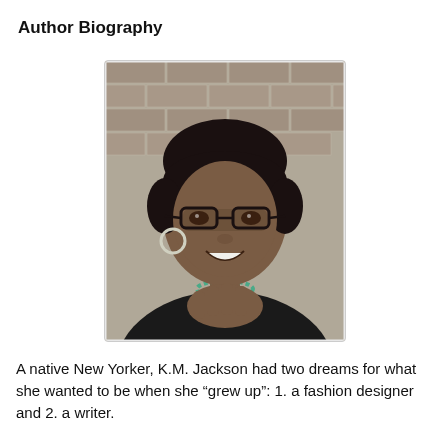Author Biography
[Figure (photo): Portrait photo of K.M. Jackson, a woman wearing black-rimmed glasses, a teal beaded necklace, and a black top, posing with her chin resting on her hand against a brick wall background.]
A native New Yorker, K.M. Jackson had two dreams for what she wanted to be when she “grew up”: 1. a fashion designer and 2. a writer.